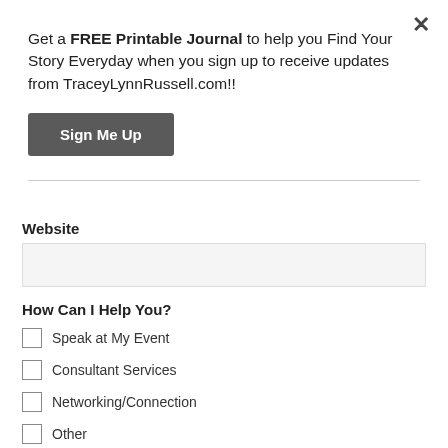Get a FREE Printable Journal to help you Find Your Story Everyday when you sign up to receive updates from TraceyLynnRussell.com!!
Sign Me Up
Website
How Can I Help You?
Speak at My Event
Consultant Services
Networking/Connection
Other
Message *